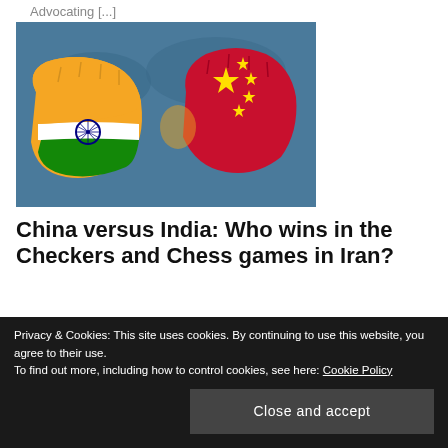Advocating [...]
[Figure (photo): Two fists bumping each other, one painted with the Indian flag and one painted with the Chinese flag, against a blue world map background]
China versus India: Who wins in the Checkers and Chess games in Iran?
With one stroke of a pen and $400 billion as long-
Privacy & Cookies: This site uses cookies. By continuing to use this website, you agree to their use.
To find out more, including how to control cookies, see here: Cookie Policy
Close and accept